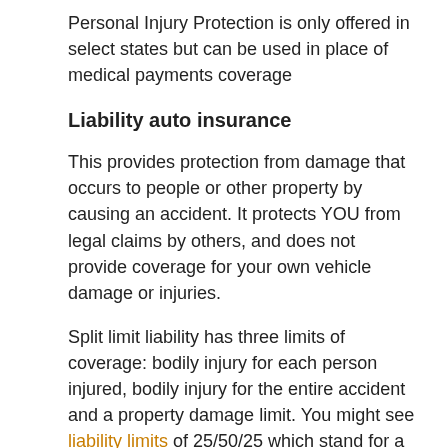Personal Injury Protection is only offered in select states but can be used in place of medical payments coverage
Liability auto insurance
This provides protection from damage that occurs to people or other property by causing an accident. It protects YOU from legal claims by others, and does not provide coverage for your own vehicle damage or injuries.
Split limit liability has three limits of coverage: bodily injury for each person injured, bodily injury for the entire accident and a property damage limit. You might see liability limits of 25/50/25 which stand for a $25,000 limit per person for injuries, a limit of $50,000 in injury protection per accident, and a total limit of $25,000 for damage to vehicles and property. Some companies may use a combined single limit or CSL which provides one coverage limit without having the split limit caps.
Liability can pay for things like emergency aid, bail bonds, loss of income, legal defense fees and pain and suffering. How much liability coverage do you need? That is a personal decision, but buy higher limits if possible. Delaware state law